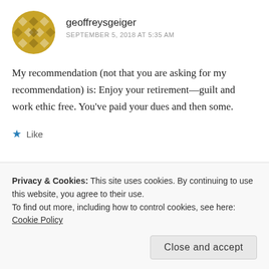geoffreysgeiger
SEPTEMBER 5, 2018 AT 5:35 AM
My recommendation (not that you are asking for my recommendation) is: Enjoy your retirement—guilt and work ethic free. You've paid your dues and then some.
Like
Privacy & Cookies: This site uses cookies. By continuing to use this website, you agree to their use.
To find out more, including how to control cookies, see here: Cookie Policy
Close and accept